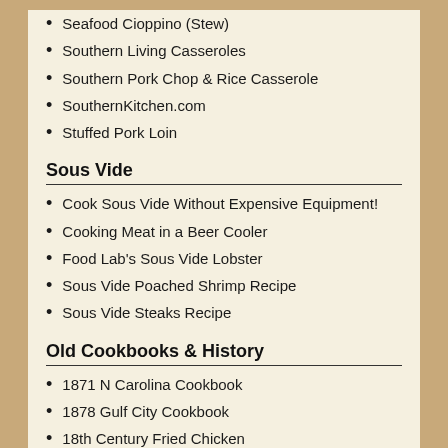Seafood Cioppino (Stew)
Southern Living Casseroles
Southern Pork Chop & Rice Casserole
SouthernKitchen.com
Stuffed Pork Loin
Sous Vide
Cook Sous Vide Without Expensive Equipment!
Cooking Meat in a Beer Cooler
Food Lab's Sous Vide Lobster
Sous Vide Poached Shrimp Recipe
Sous Vide Steaks Recipe
Old Cookbooks & History
1871 N Carolina Cookbook
1878 Gulf City Cookbook
18th Century Fried Chicken
Ancient Ingredient: Hominy ToTry
Baking in cast iron skillets
Civil War Recipes
Colonial Recipes from Old Vic & More...